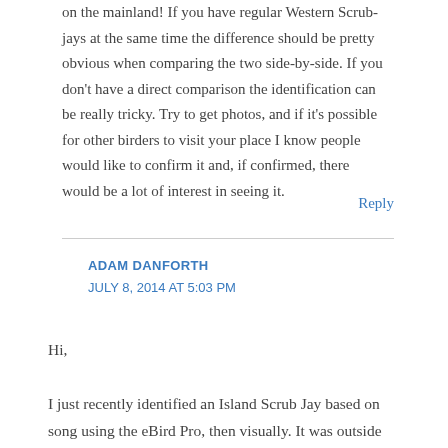on the mainland! If you have regular Western Scrub-jays at the same time the difference should be pretty obvious when comparing the two side-by-side. If you don't have a direct comparison the identification can be really tricky. Try to get photos, and if it's possible for other birders to visit your place I know people would like to confirm it and, if confirmed, there would be a lot of interest in seeing it.
Reply
ADAM DANFORTH
JULY 8, 2014 AT 5:03 PM
Hi,
I just recently identified an Island Scrub Jay based on song using the eBird Pro, then visually. It was outside the Co-op in Ashland, OR.